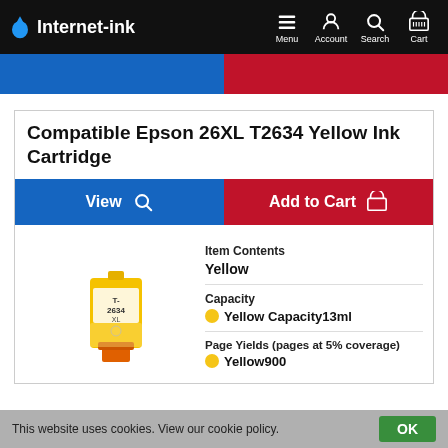Internet-ink — Menu, Account, Search, Cart
Compatible Epson 26XL T2634 Yellow Ink Cartridge
View | Add to Cart
[Figure (photo): Yellow Epson 26XL T2634 ink cartridge]
Item Contents
Yellow
Capacity
Yellow Capacity 13ml
Page Yields (pages at 5% coverage)
Yellow 900
This website uses cookies. View our cookie policy. OK